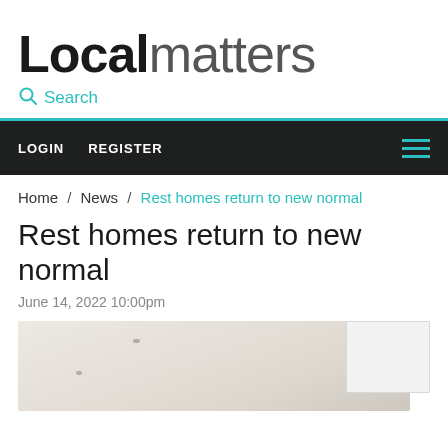Localmatters
Search
LOGIN   REGISTER
Home / News / Rest homes return to new normal
Rest homes return to new normal
June 14, 2022 10:00pm
[Figure (photo): Interior ceiling/room photo for the article about rest homes]